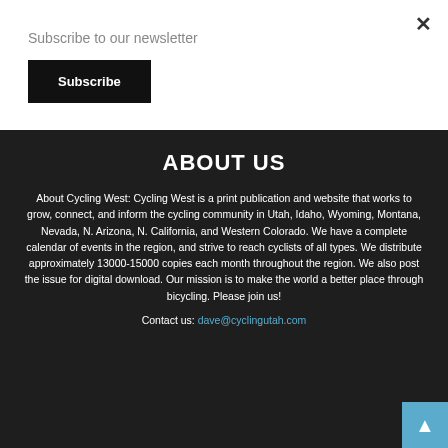Subscribe to our newsletter
Subscribe
ABOUT US
About Cycling West: Cycling West is a print publication and website that works to grow, connect, and inform the cycling community in Utah, Idaho, Wyoming, Montana, Nevada, N. Arizona, N. California, and Western Colorado. We have a complete calendar of events in the region, and strive to reach cyclists of all types. We distribute approximately 13000-15000 copies each month throughout the region. We also post the issue for digital download. Our mission is to make the world a better place through bicycling. Please join us!
Contact us: dave@cyclingutah.com